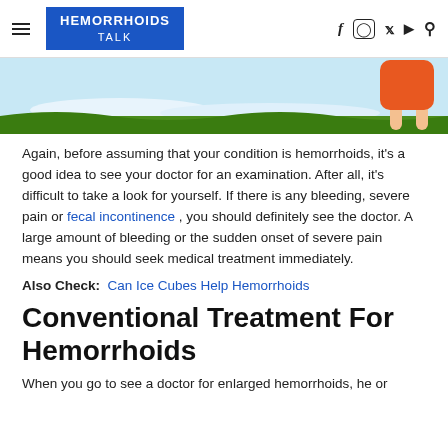HEMORRHOIDS TALK
[Figure (illustration): Partial illustration showing a cartoon outdoor scene with a figure in an orange top and legs visible, with blue sky and green ground]
Again, before assuming that your condition is hemorrhoids, it's a good idea to see your doctor for an examination. After all, it's difficult to take a look for yourself. If there is any bleeding, severe pain or fecal incontinence , you should definitely see the doctor. A large amount of bleeding or the sudden onset of severe pain means you should seek medical treatment immediately.
Also Check: Can Ice Cubes Help Hemorrhoids
Conventional Treatment For Hemorrhoids
When you go to see a doctor for enlarged hemorrhoids, he or